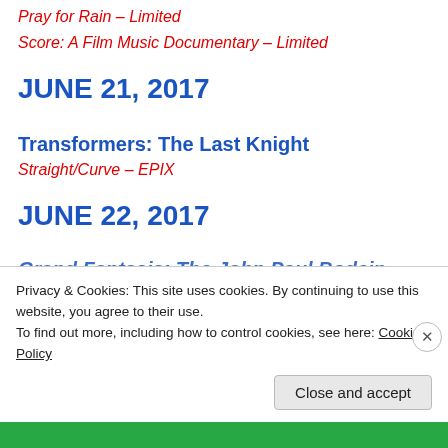Pray for Rain – Limited
Score: A Film Music Documentary – Limited
JUNE 21, 2017
Transformers: The Last Knight
Straight/Curve – EPIX
JUNE 22, 2017
Grand Fantasia: The John Paul Bodein Story – Limited
Privacy & Cookies: This site uses cookies. By continuing to use this website, you agree to their use.
To find out more, including how to control cookies, see here: Cookie Policy